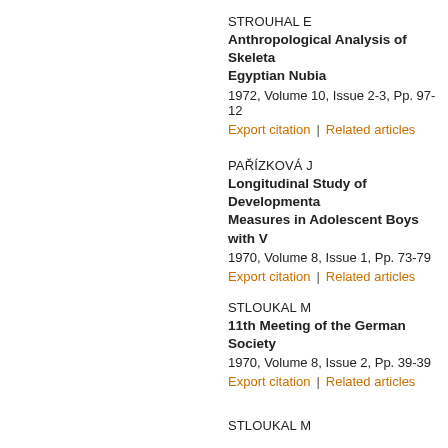STROUHAL E
Anthropological Analysis of Skeletal Egyptian Nubia
1972, Volume 10, Issue 2-3, Pp. 97-12
Export citation | Related articles
PAŘÍZKOVÁ J
Longitudinal Study of Developmental Measures in Adolescent Boys with V
1970, Volume 8, Issue 1, Pp. 73-79
Export citation | Related articles
STLOUKAL M
11th Meeting of the German Society
1970, Volume 8, Issue 2, Pp. 39-39
Export citation | Related articles
STLOUKAL M